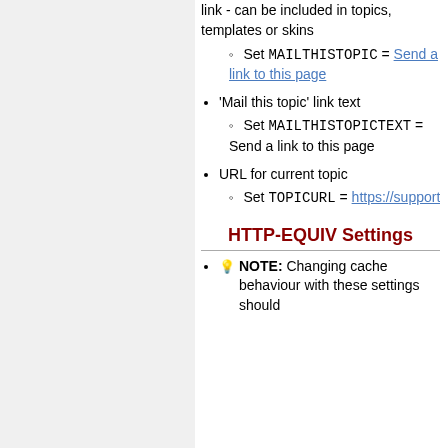link - can be included in topics, templates or skins
Set MAILTHISTOPIC = Send a link to this page
'Mail this topic' link text
Set MAILTHISTOPICTEXT = Send a link to this page
URL for current topic
Set TOPICURL = https://support.ntp.org/b
HTTP-EQUIV Settings
💡 NOTE: Changing cache behaviour with these settings should